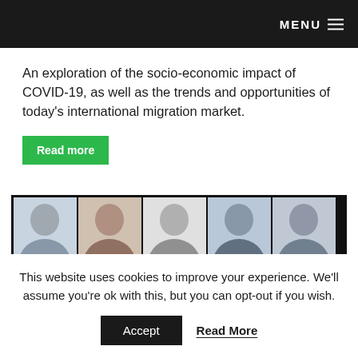MENU
An exploration of the socio-economic impact of COVID-19, as well as the trends and opportunities of today's international migration market.
Read more
[Figure (photo): Grid of professional headshot photos of multiple individuals, arranged in two rows on a dark background]
This website uses cookies to improve your experience. We'll assume you're ok with this, but you can opt-out if you wish.
Accept
Read More